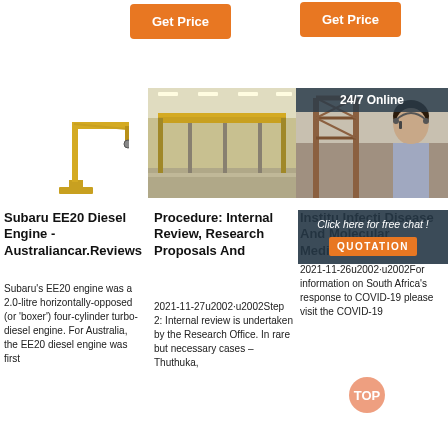[Figure (other): Get Price button (orange) center-left]
[Figure (other): Get Price button (orange) top-right]
[Figure (photo): Small yellow jib crane on white background]
[Figure (photo): Industrial factory interior with yellow overhead crane]
[Figure (photo): Gantry crane structure outdoors with woman headset overlay and 24/7 Online badge]
Subaru EE20 Diesel Engine - Australiancar.Reviews
Subaru's EE20 engine was a 2.0-litre horizontally-opposed (or 'boxer') four-cylinder turbo-diesel engine. For Australia, the EE20 diesel engine was first
Procedure: Internal Review, Research Proposals And
2021-11-27u2002·u2002Step 2: Internal review is undertaken by the Research Office. In rare but necessary cases – Thuthuka,
Institu Infecti Disease And Molecular Medicine
2021-11-26u2002·u2002For information on South Africa's response to COVID-19 please visit the COVID-19